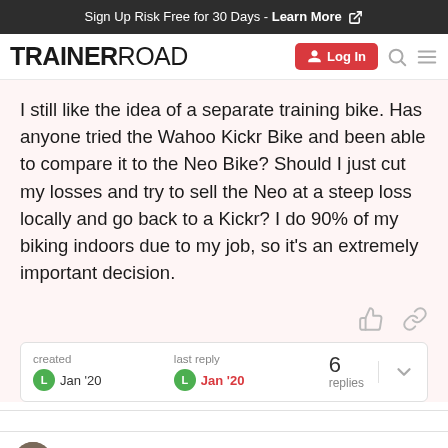Sign Up Risk Free for 30 Days - Learn More
[Figure (logo): TrainerRoad logo with Log In button, search icon, and menu icon]
I still like the idea of a separate training bike. Has anyone tried the Wahoo Kickr Bike and been able to compare it to the Neo Bike? Should I just cut my losses and try to sell the Neo at a steep loss locally and go back to a Kickr? I do 90% of my biking indoors due to my job, so it's an extremely important decision.
created Jan '20  last reply Jan '20  6 replies
zombo  Jan '20